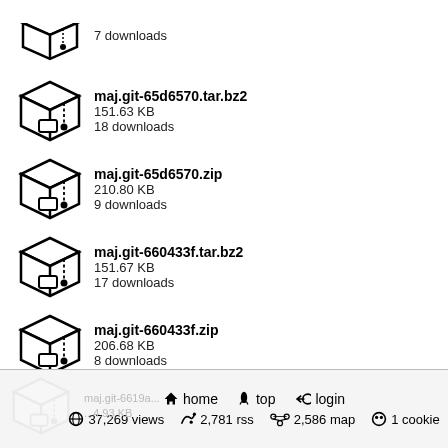7 downloads
maj.git-65d6570.tar.bz2
151.63 KB
18 downloads
maj.git-65d6570.zip
210.80 KB
9 downloads
maj.git-660433f.tar.bz2
151.67 KB
17 downloads
maj.git-660433f.zip
206.68 KB
8 downloads
maj.git-6619ae5.tar.bz2
153.23 KB
21 downloads
home  top  login
37,269 views  2,781 rss  2,586 map  1 cookie